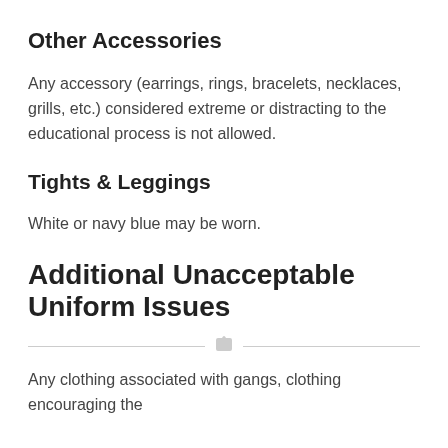Other Accessories
Any accessory (earrings, rings, bracelets, necklaces, grills, etc.) considered extreme or distracting to the educational process is not allowed.
Tights & Leggings
White or navy blue may be worn.
Additional Unacceptable Uniform Issues
Any clothing associated with gangs, clothing encouraging the